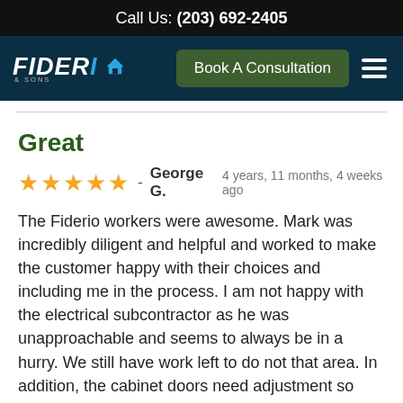Call Us: (203) 692-2405
[Figure (logo): Fiderio & Sons logo with house icon and Book A Consultation button with hamburger menu]
Great
★★★★★ - George G. 4 years, 11 months, 4 weeks ago
The Fiderio workers were awesome. Mark was incredibly diligent and helpful and worked to make the customer happy with their choices and including me in the process. I am not happy with the electrical subcontractor as he was unapproachable and seems to always be in a hurry. We still have work left to do not that area. In addition, the cabinet doors need adjustment so that when opened they don't hit